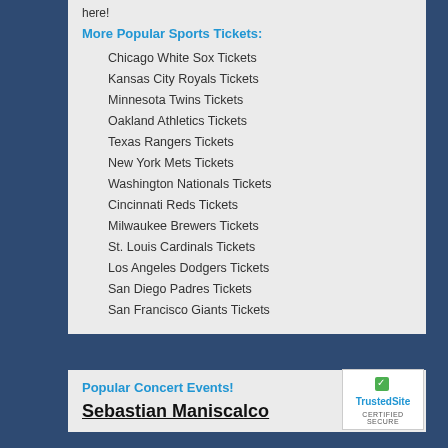here!
More Popular Sports Tickets:
Chicago White Sox Tickets
Kansas City Royals Tickets
Minnesota Twins Tickets
Oakland Athletics Tickets
Texas Rangers Tickets
New York Mets Tickets
Washington Nationals Tickets
Cincinnati Reds Tickets
Milwaukee Brewers Tickets
St. Louis Cardinals Tickets
Los Angeles Dodgers Tickets
San Diego Padres Tickets
San Francisco Giants Tickets
Popular Concert Events!
Sebastian Maniscalco